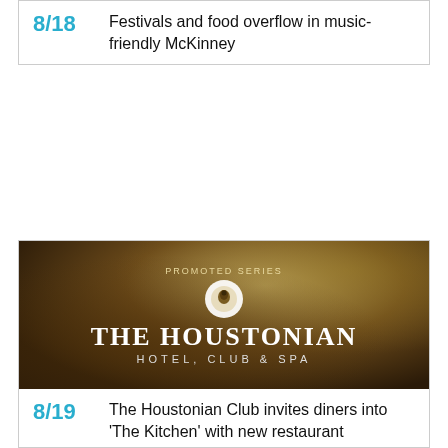8/18 Festivals and food overflow in music-friendly McKinney
[Figure (photo): The Houstonian Hotel, Club & Spa promotional series banner with dark foliage background, circular logo, and white serif text]
8/19 The Houstonian Club invites diners into 'The Kitchen' with new restaurant
5/24 The Houstonian Club's big reno makes fitness fun for the whole family
4/19 Phase 1 of The Houstonian Club's big reno gives group exercise a lift